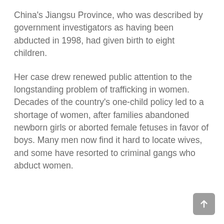China's Jiangsu Province, who was described by government investigators as having been abducted in 1998, had given birth to eight children.
Her case drew renewed public attention to the longstanding problem of trafficking in women. Decades of the country's one-child policy led to a shortage of women, after families abandoned newborn girls or aborted female fetuses in favor of boys. Many men now find it hard to locate wives, and some have resorted to criminal gangs who abduct women.